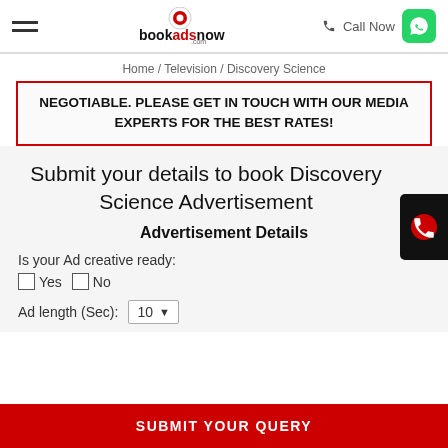bookadsnow.com — Call Now
Home / Television / Discovery Science
NEGOTIABLE. PLEASE GET IN TOUCH WITH OUR MEDIA EXPERTS FOR THE BEST RATES!
Submit your details to book Discovery Science Advertisement
Advertisement Details
Is your Ad creative ready:
Yes
No
Ad length (Sec): 10
SUBMIT YOUR QUERY